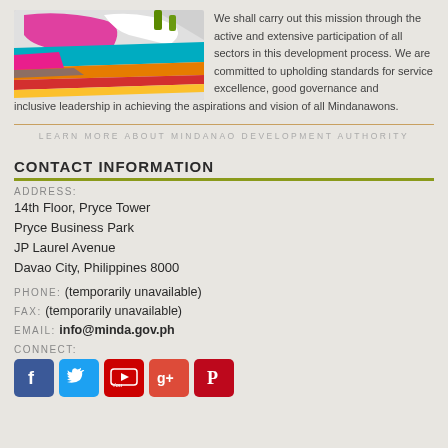[Figure (map): Colorful map of Mindanao with colored bands/regions in pink, teal, orange, red, yellow, and olive]
We shall carry out this mission through the active and extensive participation of all sectors in this development process. We are committed to upholding standards for service excellence, good governance and inclusive leadership in achieving the aspirations and vision of all Mindanawons.
LEARN MORE ABOUT MINDANAO DEVELOPMENT AUTHORITY
CONTACT INFORMATION
ADDRESS:
14th Floor, Pryce Tower
Pryce Business Park
JP Laurel Avenue
Davao City, Philippines 8000
PHONE: (temporarily unavailable)
FAX: (temporarily unavailable)
EMAIL: info@minda.gov.ph
CONNECT:
[Figure (other): Social media icons: Facebook, Twitter, YouTube, Google+, Pinterest]